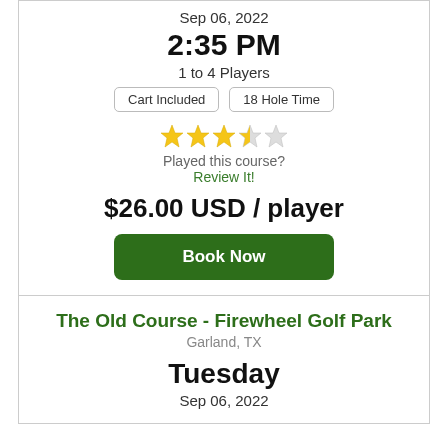Sep 06, 2022
2:35 PM
1 to 4 Players
Cart Included   18 Hole Time
[Figure (other): 3.5 out of 5 stars rating]
Played this course?
Review It!
$26.00 USD / player
Book Now
The Old Course - Firewheel Golf Park
Garland, TX
Tuesday
Sep 06, 2022